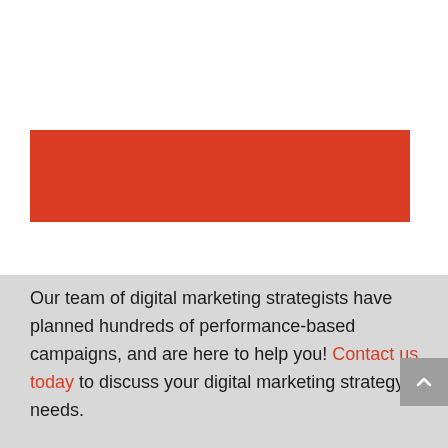[Figure (other): Red/orange colored rectangular banner bar]
Our team of digital marketing strategists have planned hundreds of performance-based campaigns, and are here to help you! Contact us today to discuss your digital marketing strategy needs.